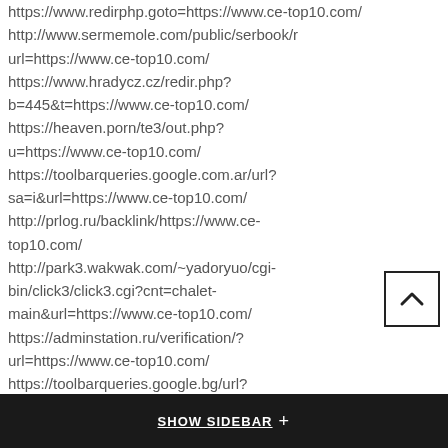https://www.redirphp.goto=https://www.ce-top10.com/ http://www.sermemole.com/public/serbook/r url=https://www.ce-top10.com/ https://www.hradycz.cz/redir.php?b=445&t=https://www.ce-top10.com/ https://heaven.porn/te3/out.php?u=https://www.ce-top10.com/ https://toolbarqueries.google.com.ar/url?sa=i&url=https://www.ce-top10.com/ http://prlog.ru/backlink/https://www.ce-top10.com/ http://park3.wakwak.com/~yadoryuo/cgi-bin/click3/click3.cgi?cnt=chalet-main&url=https://www.ce-top10.com/ https://adminstation.ru/verification/?url=https://www.ce-top10.com/ https://toolbarqueries.google.bg/url?q=https://www.ce-top10.com/ https://www.moneydj.com/ads/adredir.aspx?bannerid=39863&url=https://www.ce-top10.com/
SHOW SIDEBAR +